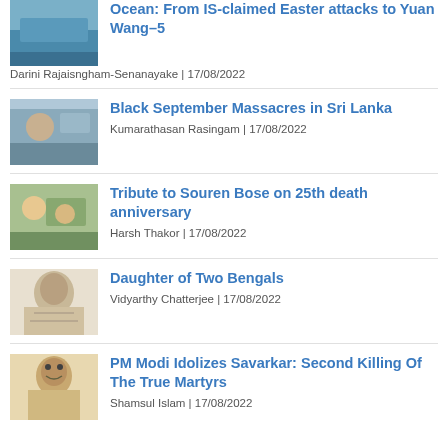[Figure (photo): Thumbnail image for article about Indian Ocean]
Ocean: From IS-claimed Easter attacks to Yuan Wang–5
Darini Rajaisngham-Senanayake | 17/08/2022
[Figure (photo): Thumbnail image for article about Black September Massacres]
Black September Massacres in Sri Lanka
Kumarathasan Rasingam | 17/08/2022
[Figure (photo): Thumbnail image for article about Tribute to Souren Bose]
Tribute to Souren Bose on 25th death anniversary
Harsh Thakor | 17/08/2022
[Figure (photo): Thumbnail image for article about Daughter of Two Bengals]
Daughter of Two Bengals
Vidyarthy Chatterjee | 17/08/2022
[Figure (photo): Thumbnail image for article about PM Modi Idolizes Savarkar]
PM Modi Idolizes Savarkar: Second Killing Of The True Martyrs
Shamsul Islam | 17/08/2022